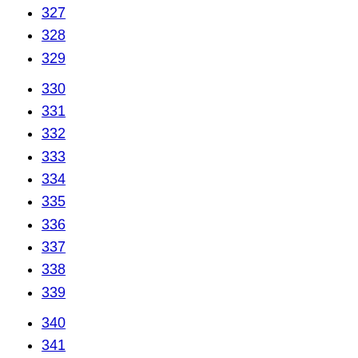327
328
329
330
331
332
333
334
335
336
337
338
339
340
341
342
343
344
345
346
347
348
349